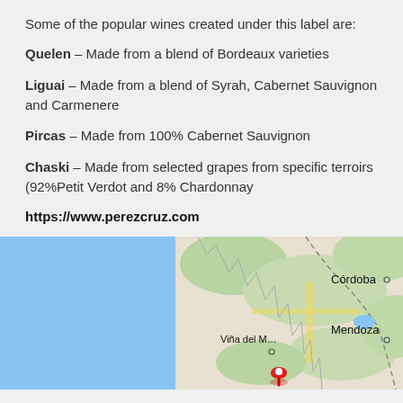Some of the popular wines created under this label are:
Quelen – Made from a blend of Bordeaux varieties
Liguai – Made from a blend of Syrah, Cabernet Sauvignon and Carmenere
Pircas – Made from 100% Cabernet Sauvignon
Chaski – Made from selected grapes from specific terroirs (92%Petit Verdot and 8% Chardonnay
https://www.perezcruz.com
[Figure (map): Google Maps showing the region around Viña del Mar, Mendoza, and Córdoba in South America, with a red location pin marker near the Chile-Argentina border.]